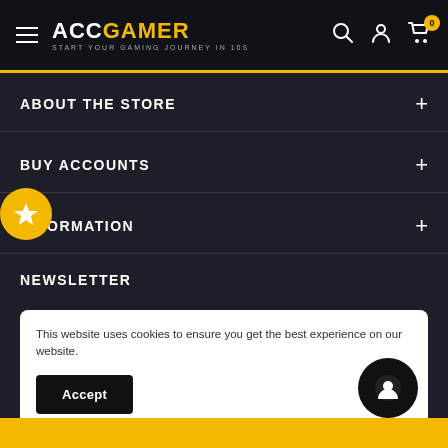ACCGAMER - START YOUR GAMING JOURNEY IN 10S
ABOUT THE STORE
BUY ACCOUNTS
INFORMATION
NEWSLETTER
This website uses cookies to ensure you get the best experience on our website.
Accept